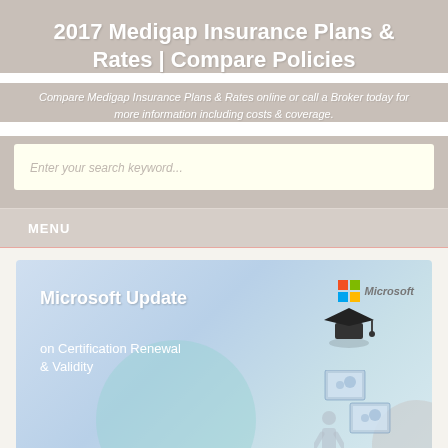2017 Medigap Insurance Plans & Rates | Compare Policies
Compare Medigap Insurance Plans & Rates online or call a Broker today for more information including costs & coverage.
Enter your search keyword...
MENU
[Figure (screenshot): Microsoft Update on Certification Renewal & Validity promotional banner with Microsoft logo, graduation cap illustration, and people at computer screens]